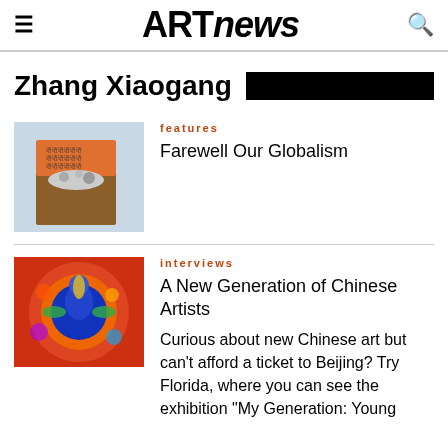ARTnews
Zhang Xiaogang
features
Farewell Our Globalism
[Figure (photo): Wooden box with objects spilling out, Chinese text on orange lid]
interviews
A New Generation of Chinese Artists
Curious about new Chinese art but can't afford a ticket to Beijing? Try Florida, where you can see the exhibition "My Generation: Young
[Figure (photo): Colorful psychedelic artwork featuring a blue figure surrounded by vivid patterns in red, orange and green]